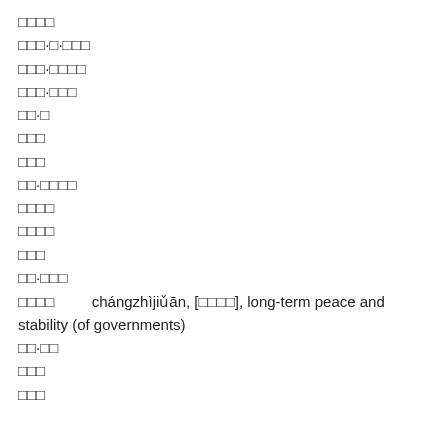□□□□
□□□·□·□□□
□□□·□□□□
□□□·□□□
□□·□
□□□
□□□
□□·□□□□
□□□□
□□□□
□□□
□□·□□□
□□□□    chángzhìjiǔān, [□□□□], long-term peace and stability (of governments)
□□·□□
□□□
□□□